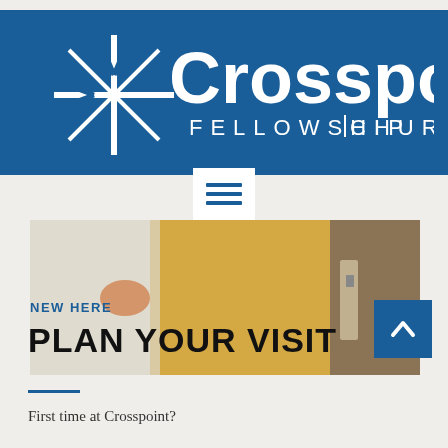[Figure (logo): Crosspoint Fellowship Church logo — white cross/star icon and text on blue background]
[Figure (photo): Photo strip showing a person in a yellow shirt near a door/entrance, partially visible]
NEW HERE
PLAN YOUR VISIT
First time at Crosspoint?